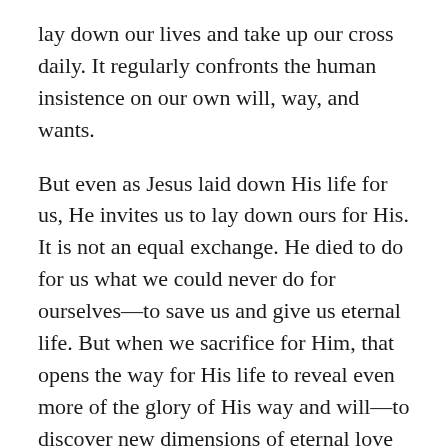lay down our lives and take up our cross daily. It regularly confronts the human insistence on our own will, way, and wants.
But even as Jesus laid down His life for us, He invites us to lay down ours for His. It is not an equal exchange. He died to do for us what we could never do for ourselves—to save us and give us eternal life. But when we sacrifice for Him, that opens the way for His life to reveal even more of the glory of His way and will—to discover new dimensions of eternal love and liberty that bring freedom from bondage to our self-life.